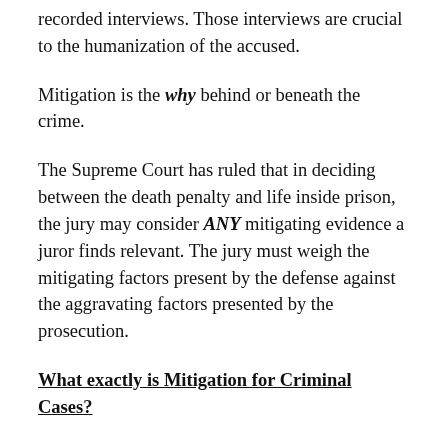recorded interviews. Those interviews are crucial to the humanization of the accused.
Mitigation is the why behind or beneath the crime.
The Supreme Court has ruled that in deciding between the death penalty and life inside prison, the jury may consider ANY mitigating evidence a juror finds relevant. The jury must weigh the mitigating factors present by the defense against the aggravating factors presented by the prosecution.
What exactly is Mitigation for Criminal Cases?
In a very basic definition, it is reducing the seriousness of an occurrence. In a criminal case, Mitigation is to reduce the impact of sentencing of the client or the defendant in the case. The Mitigation Specialist takes on the task of humanizing the accused by telling the bio-story of